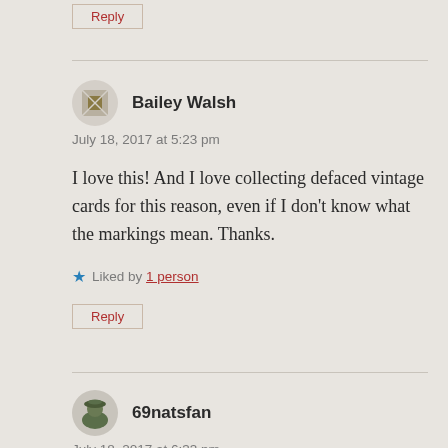Reply
Bailey Walsh
July 18, 2017 at 5:23 pm
I love this! And I love collecting defaced vintage cards for this reason, even if I don't know what the markings mean. Thanks.
Liked by 1 person
Reply
69natsfan
July 18, 2017 at 6:33 pm